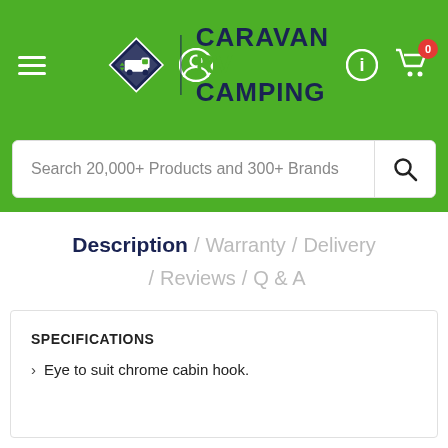[Figure (logo): Caravan RV Camping website header with green background, hamburger menu, user icon, diamond-shaped logo with truck, CARAVAN RV CAMPING text, info icon, and shopping cart with badge showing 0]
Search 20,000+ Products and 300+ Brands
Description / Warranty / Delivery / Reviews / Q & A
SPECIFICATIONS
Eye to suit chrome cabin hook.